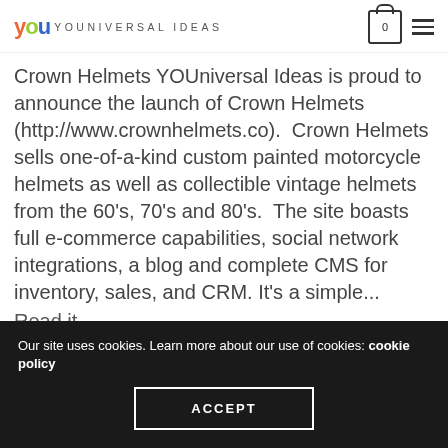YOUniversal Ideas
Crown Helmets YOUniversal Ideas is proud to announce the launch of Crown Helmets (http://www.crownhelmets.co). Crown Helmets sells one-of-a-kind custom painted motorcycle helmets as well as collectible vintage helmets from the 60's, 70's and 80's. The site boasts full e-commerce capabilities, social network integrations, a blog and complete CMS for inventory, sales, and CRM. It's a simple...
Our site uses cookies. Learn more about our use of cookies: cookie policy
ACCEPT